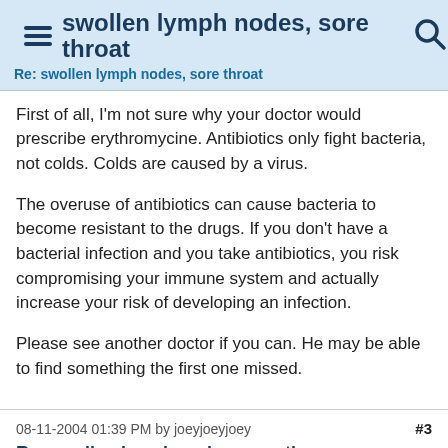swollen lymph nodes, sore throat
Re: swollen lymph nodes, sore throat
First of all, I'm not sure why your doctor would prescribe erythromycine. Antibiotics only fight bacteria, not colds. Colds are caused by a virus.
The overuse of antibiotics can cause bacteria to become resistant to the drugs. If you don't have a bacterial infection and you take antibiotics, you risk compromising your immune system and actually increase your risk of developing an infection.
Please see another doctor if you can. He may be able to find something the first one missed.
08-11-2004 01:39 PM by joeyjoeyjoey #3